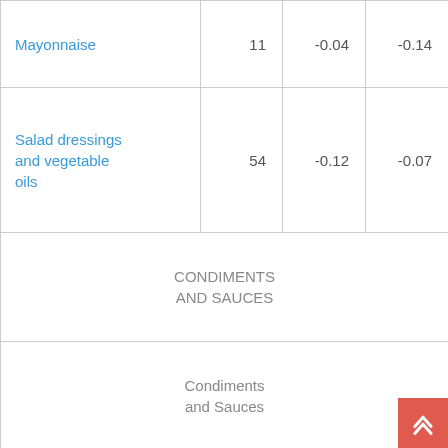|  |  |  |  |
| --- | --- | --- | --- |
| Mayonnaise | 11 | -0.04 | -0.14 |
| Salad dressings and vegetable oils | 54 | -0.12 | -0.07 |
| CONDIMENTS AND SAUCES |  |  |  |
| Condiments and Sauces |  |  |  |
| Tomato-based condiments | 12 | -4.45 | -7.54 |
| Soy-based condiments | 8 | 0.76 | 0.67 |
|  |  |  |  |